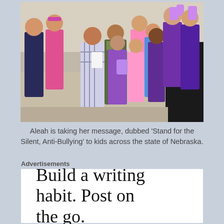[Figure (photo): Group photo of children and adults, some wearing purple and pink shirts, holding up purple hand cutouts, standing together indoors in a classroom or gym setting.]
Aleah is taking her message, dubbed ‘Stand for the Silent, Anti-Bullying’ to kids across the state of Nebraska.
Advertisements
Build a writing habit. Post on the go.